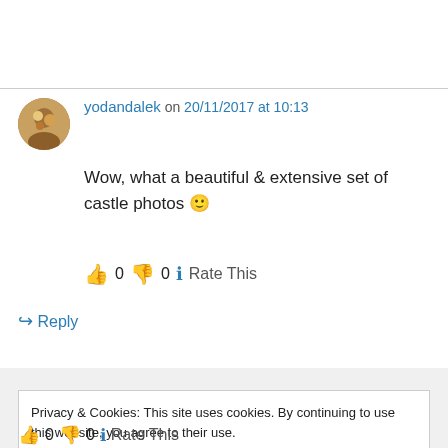yodandalek on 20/11/2017 at 10:13
Wow, what a beautiful & extensive set of castle photos 🙂
👍 0 👎 0 ℹ️ Rate This
↪ Reply
Privacy & Cookies: This site uses cookies. By continuing to use this website, you agree to their use. To find out more, including how to control cookies, see here: Cookie Policy
Close and accept
👍 0 👎 0 ℹ️ Rate This